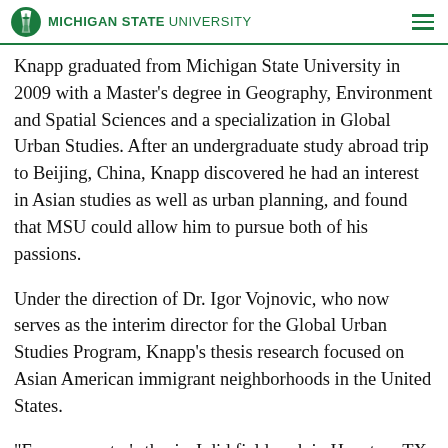MICHIGAN STATE UNIVERSITY
Knapp graduated from Michigan State University in 2009 with a Master’s degree in Geography, Environment and Spatial Sciences and a specialization in Global Urban Studies. After an undergraduate study abroad trip to Beijing, China, Knapp discovered he had an interest in Asian studies as well as urban planning, and found that MSU could allow him to pursue both of his passions.
Under the direction of Dr. Igor Vojnovic, who now serves as the interim director for the Global Urban Studies Program, Knapp’s thesis research focused on Asian American immigrant neighborhoods in the United States.
“For my master’s thesis, I did fieldwork in Houston, TX studying neighborhood change in Chinese and Vietnamese business districts and documenting how cities can enhance or impede investment into